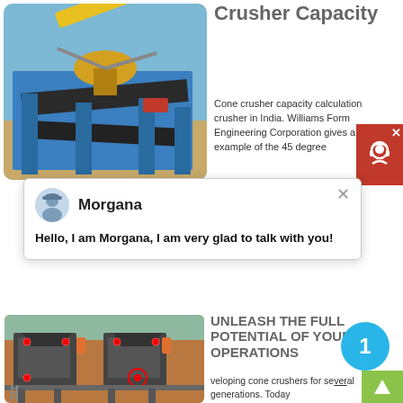[Figure (photo): Industrial cone crusher / mining processing plant with blue steel structure, conveyor belts, and yellow crane arm against a blue sky.]
Crusher Capacity
Cone crusher capacity calculation crusher in India. Williams Form Engineering Corporation gives an example of the 45 degree
[Figure (screenshot): Chat popup from Morgana: Hello, I am Morgana, I am very glad to talk with you!]
[Figure (photo): Two large industrial cone crushers mounted on a steel platform in an open-air mining site with reddish-brown earth background.]
UNLEASH THE FULL POTENTIAL OF YOUR OPERATIONS
veloping cone crushers for several generations. Today